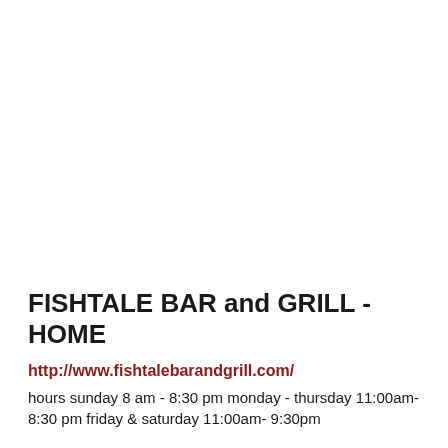FISHTALE BAR and GRILL - HOME
http://www.fishtalebarandgrill.com/
hours sunday 8 am - 8:30 pm monday - thursday 11:00am- 8:30 pm friday & saturday 11:00am- 9:30pm